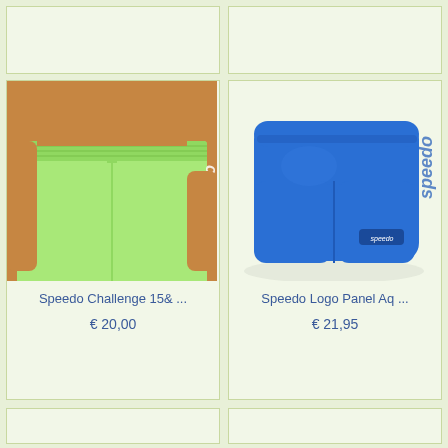[Figure (photo): Top-left product card (partially visible, empty/cut off at top)]
[Figure (photo): Top-right product card (partially visible, empty/cut off at top)]
[Figure (photo): Speedo Challenge 15& ... green board shorts worn by a person, lime green color with white Speedo logo]
Speedo Challenge 15& ...
€ 20,00
[Figure (photo): Speedo Logo Panel Aq ... blue swim shorts/aquashorts laid flat, bright blue with darker Speedo logo on side]
Speedo Logo Panel Aq ...
€ 21,95
[Figure (photo): Bottom-left product card (partially visible, cut off at bottom)]
[Figure (photo): Bottom-right product card (partially visible, cut off at bottom)]